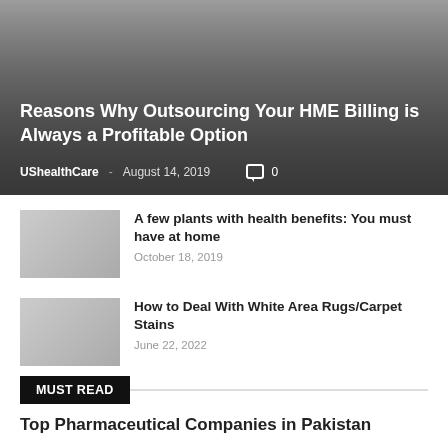[Figure (photo): Hero banner image with dark gradient overlay, showing a featured article background]
Reasons Why Outsourcing Your HME Billing is Always a Profitable Option
UShealthCare - August 14, 2019   0
[Figure (photo): Thumbnail image for article about plants with health benefits]
A few plants with health benefits: You must have at home
October 18, 2019
[Figure (photo): Thumbnail image for article about white area rugs/carpet stains]
How to Deal With White Area Rugs/Carpet Stains
June 22, 2022
MUST READ
Top Pharmaceutical Companies in Pakistan